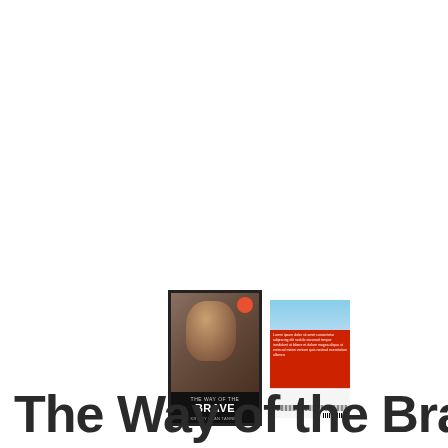[Figure (photo): Front cover of the book 'The Way of the Brave' showing a man's face against a mountainous outdoor background, with a red circular logo at top right, and the title text at the bottom. Black border around the cover.]
[Figure (photo): Back cover of the book 'The Way of the Brave' showing a sky scene at top, red section with white text in the middle, and a white section with barcode at the bottom.]
The Way of the Brave